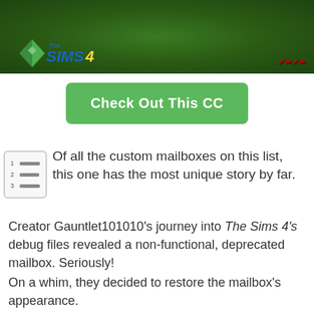[Figure (screenshot): The Sims 4 game screenshot showing green grass background with The Sims 4 logo in bottom-left and red text overlay in bottom-right]
[Figure (other): Green button labeled 'Check Out This CC']
Of all the custom mailboxes on this list, this one has the most unique story by far.
Creator Gauntlet101010's journey into The Sims 4's debug files revealed a non-functional, deprecated mailbox. Seriously!
On a whim, they decided to restore the mailbox's appearance.